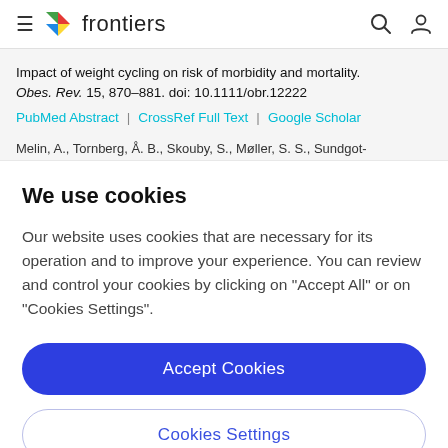frontiers
Impact of weight cycling on risk of morbidity and mortality. Obes. Rev. 15, 870–881. doi: 10.1111/obr.12222
PubMed Abstract | CrossRef Full Text | Google Scholar
Melin, A., Tornberg, Å. B., Skouby, S., Møller, S. S., Sundgot-
We use cookies
Our website uses cookies that are necessary for its operation and to improve your experience. You can review and control your cookies by clicking on "Accept All" or on "Cookies Settings".
Accept Cookies
Cookies Settings